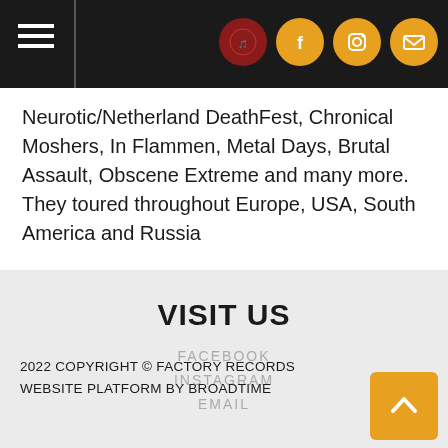Header navigation bar with hamburger menu and social icons (Facebook, Instagram, Email)
Neurotic/Netherland DeathFest, Chronical Moshers, In Flammen, Metal Days, Brutal Assault, Obscene Extreme and many more. They toured throughout Europe, USA, South America and Russia
VISIT US
FACEBOOK
INSTAGRAM
EMAIL
2022 COPYRIGHT © FACTORY RECORDS
WEBSITE PLATFORM BY BROADTIME